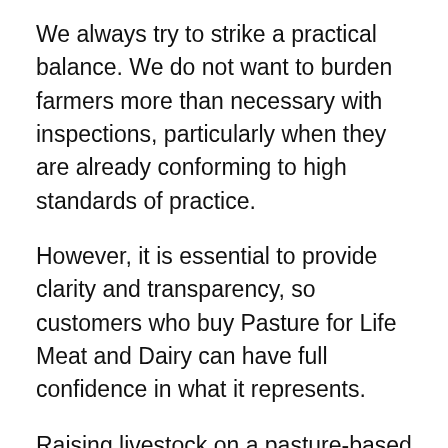We always try to strike a practical balance. We do not want to burden farmers more than necessary with inspections, particularly when they are already conforming to high standards of practice.
However, it is essential to provide clarity and transparency, so customers who buy Pasture for Life Meat and Dairy can have full confidence in what it represents.
Raising livestock on a pasture-based system will not be suitable for every farm or set of circumstances. However, for those farmers that can, Pasture for Life provides an important distinction over food produced by more intensive methods. As such it may attract a price premium when sold.